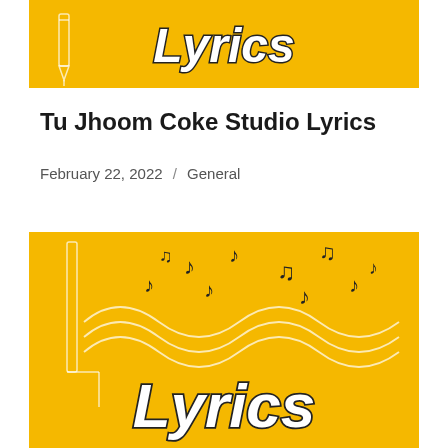[Figure (illustration): Yellow banner image with pencil graphic and 'Lyrics' text in bold italic white lettering with dark outline on golden yellow background.]
Tu Jhoom Coke Studio Lyrics
February 22, 2022 / General
[Figure (illustration): Yellow banner image with music notes and wavy white lines, and 'Lyrics' text in bold italic white lettering with dark outline on golden yellow background.]